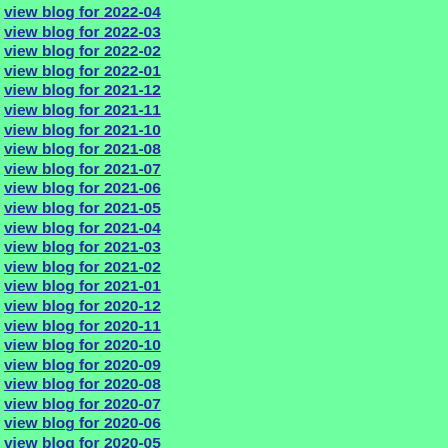view blog for 2022-04
view blog for 2022-03
view blog for 2022-02
view blog for 2022-01
view blog for 2021-12
view blog for 2021-11
view blog for 2021-10
view blog for 2021-08
view blog for 2021-07
view blog for 2021-06
view blog for 2021-05
view blog for 2021-04
view blog for 2021-03
view blog for 2021-02
view blog for 2021-01
view blog for 2020-12
view blog for 2020-11
view blog for 2020-10
view blog for 2020-09
view blog for 2020-08
view blog for 2020-07
view blog for 2020-06
view blog for 2020-05
view blog for 2020-04
view blog for 2020-03